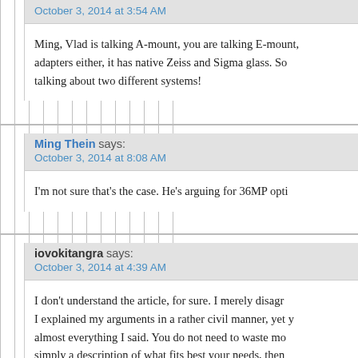October 3, 2014 at 3:54 AM
Ming, Vlad is talking A-mount, you are talking E-mount, adapters either, it has native Zeiss and Sigma glass. So talking about two different systems!
Ming Thein says: October 3, 2014 at 8:08 AM
I'm not sure that's the case. He's arguing for 36MP opti
iovokitangra says: October 3, 2014 at 4:39 AM
I don't understand the article, for sure. I merely disagr I explained my arguments in a rather civil manner, yet y almost everything I said. You do not need to waste mo simply a description of what fits best your needs, then Which is it? Certainly, it can't be both. M43 has 43 native lenses, not counting third parties,